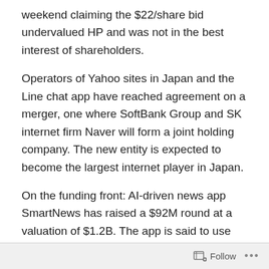weekend claiming the $22/share bid undervalued HP and was not in the best interest of shareholders.
Operators of Yahoo sites in Japan and the Line chat app have reached agreement on a merger, one where SoftBank Group and SK internet firm Naver will form a joint holding company. The new entity is expected to become the largest internet player in Japan.
On the funding front: AI-driven news app SmartNews has raised a $92M round at a valuation of $1.2B. The app is said to use machine learning (rather than human curation) to generate personalized news experiences.
The company is focused initially on Japan and the U.S. as key markets.
Follow ···